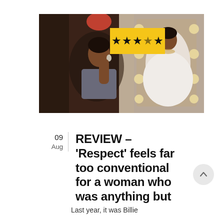[Figure (photo): Movie still from 'Respect' showing a woman in foreground looking pensive, with a reflection in a mirror showing another woman in a white feathered outfit. A star rating badge (3.5 out of 5 stars) overlays the top right corner on a yellow background.]
09
Aug
REVIEW – 'Respect' feels far too conventional for a woman who was anything but
Last year, it was Billie